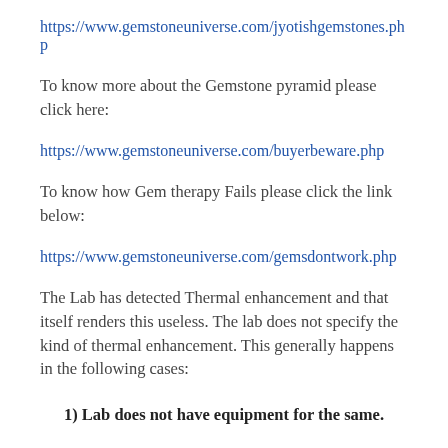https://www.gemstoneuniverse.com/jyotishgemstones.php
To know more about the Gemstone pyramid please click here:
https://www.gemstoneuniverse.com/buyerbeware.php
To know how Gem therapy Fails please click the link below:
https://www.gemstoneuniverse.com/gemsdontwork.php
The Lab has detected Thermal enhancement and that itself renders this useless. The lab does not specify the kind of thermal enhancement. This generally happens in the following cases:
1) Lab does not have equipment for the same.